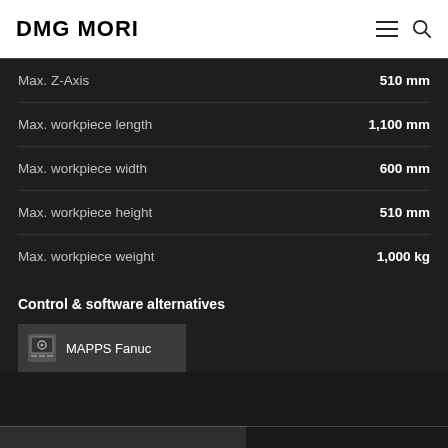DMG MORI
Max. Z-Axis: 510 mm
Max. workpiece length: 1,100 mm
Max. workpiece width: 600 mm
Max. workpiece height: 510 mm
Max. workpiece weight: 1,000 kg
Control & software alternatives
MAPPS Fanuc